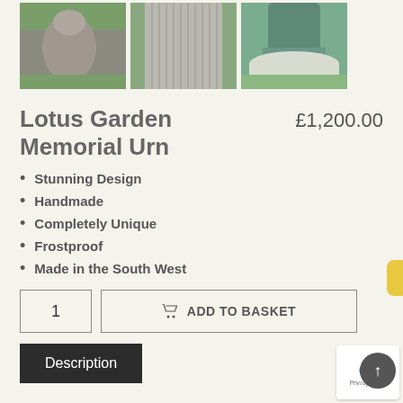[Figure (photo): Three product photos of the Lotus Garden Memorial Urn: left shows a stone-coloured urn on grass, middle shows a ribbed textured vase close-up, right shows the teal top of an urn with a white base on grass.]
Lotus Garden Memorial Urn
£1,200.00
Stunning Design
Handmade
Completely Unique
Frostproof
Made in the South West
1  ADD TO BASKET
Description